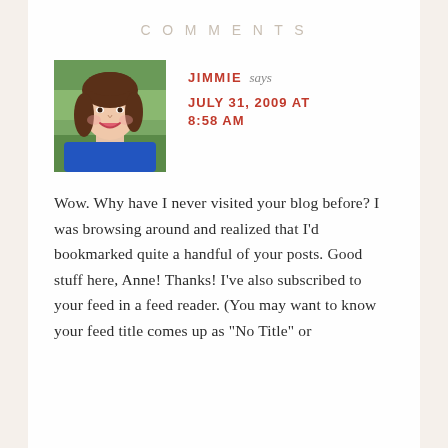COMMENTS
[Figure (photo): Profile photo of a woman with brown hair wearing a blue top, photographed outdoors with green background]
JIMMIE says JULY 31, 2009 AT 8:58 AM
Wow. Why have I never visited your blog before? I was browsing around and realized that I’d bookmarked quite a handful of your posts. Good stuff here, Anne! Thanks! I’ve also subscribed to your feed in a feed reader. (You may want to know your feed title comes up as “No Title” or